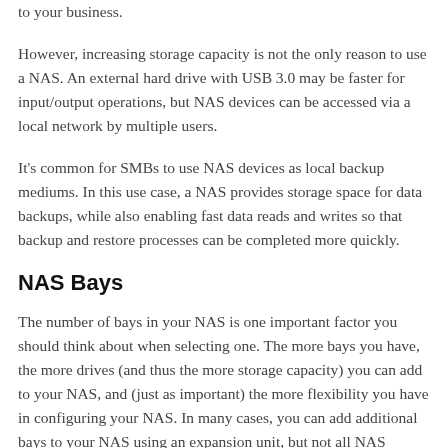to your business.
However, increasing storage capacity is not the only reason to use a NAS. An external hard drive with USB 3.0 may be faster for input/output operations, but NAS devices can be accessed via a local network by multiple users.
It's common for SMBs to use NAS devices as local backup mediums. In this use case, a NAS provides storage space for data backups, while also enabling fast data reads and writes so that backup and restore processes can be completed more quickly.
NAS Bays
The number of bays in your NAS is one important factor you should think about when selecting one. The more bays you have, the more drives (and thus the more storage capacity) you can add to your NAS, and (just as important) the more flexibility you have in configuring your NAS. In many cases, you can add additional bays to your NAS using an expansion unit, but not all NAS devices support expansion